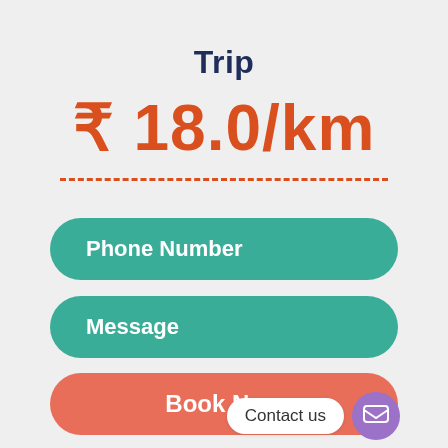Trip
₹ 18.0/km
Phone Number
Message
Book Now
Contact us